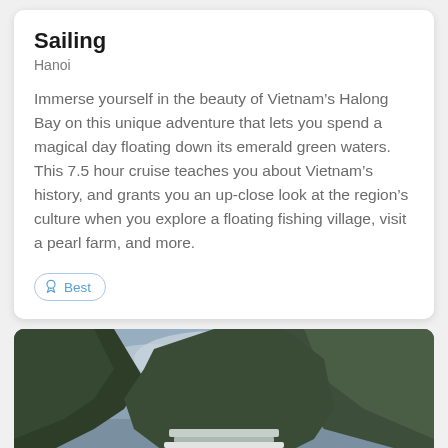Sailing
Hanoi
Immerse yourself in the beauty of Vietnam's Halong Bay on this unique adventure that lets you spend a magical day floating down its emerald green waters. This 7.5 hour cruise teaches you about Vietnam's history, and grants you an up-close look at the region's culture when you explore a floating fishing village, visit a pearl farm, and more.
Best
[Figure (photo): Scenic photo of a large tiered waterfall surrounded by lush green mountains and misty clouds in Vietnam]